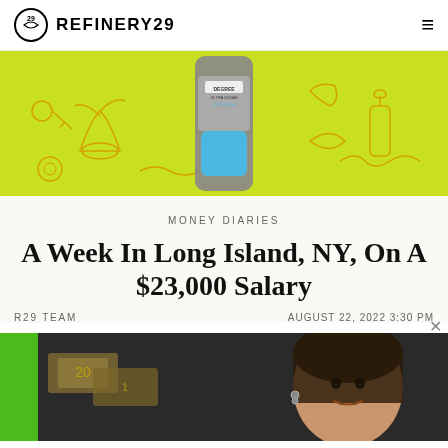REFINERY29
[Figure (photo): Advertisement banner with yellow-green background showing illustrated icons (keys, plants, bottles, etc.) and a grey/blue deodorant product bottle in the center]
MONEY DIARIES
A Week In Long Island, NY, On A $23,000 Salary
R29 TEAM
AUGUST 22, 2022 3:30 PM
[Figure (photo): Advertisement banner with bright green background showing a person with dark hair looking at the camera, and what appear to be dollar bills/currency elements]